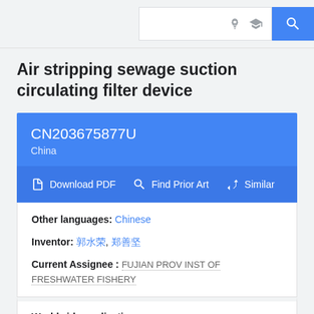Search bar with lightbulb and graduation icons, blue search button
Air stripping sewage suction circulating filter device
CN203675877U
China
Download PDF   Find Prior Art   Similar
Other languages: Chinese
Inventor: 郭水荣, 郑善坚
Current Assignee : FUJIAN PROV INST OF FRESHWATER FISHERY
Worldwide applications
2013 · CN